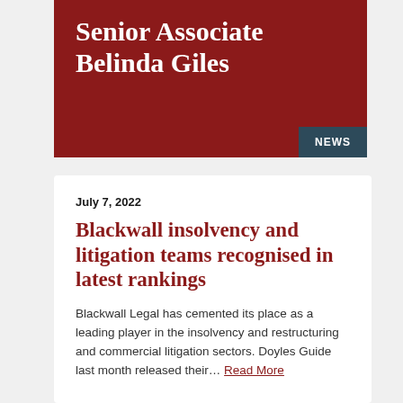Senior Associate Belinda Giles
NEWS
July 7, 2022
Blackwall insolvency and litigation teams recognised in latest rankings
Blackwall Legal has cemented its place as a leading player in the insolvency and restructuring and commercial litigation sectors. Doyles Guide last month released their… Read More